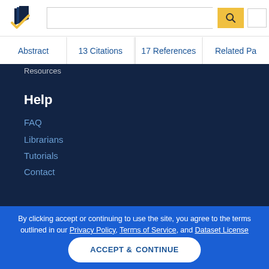[Figure (logo): Semantic Scholar logo - dark blue pages with gold checkmark]
Abstract | 13 Citations | 17 References | Related Pa...
Resources
Help
FAQ
Librarians
Tutorials
Contact
By clicking accept or continuing to use the site, you agree to the terms outlined in our Privacy Policy, Terms of Service, and Dataset License
ACCEPT & CONTINUE